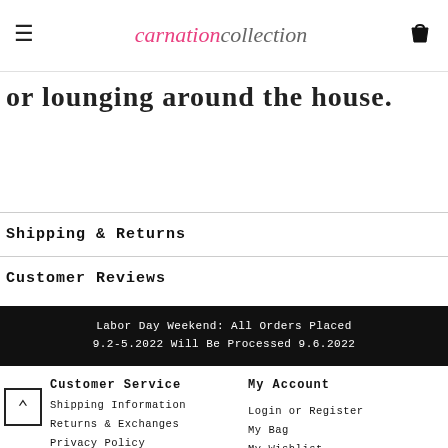carnationcollection
or lounging around the house.
Shipping & Returns
Customer Reviews
Labor Day Weekend: All Orders Placed 9.2-5.2022 Will Be Processed 9.6.2022
Customer Service
Shipping Information
Returns & Exchanges
Privacy Policy
My Account
Login or Register
My Bag
My Wishlist
My Orders